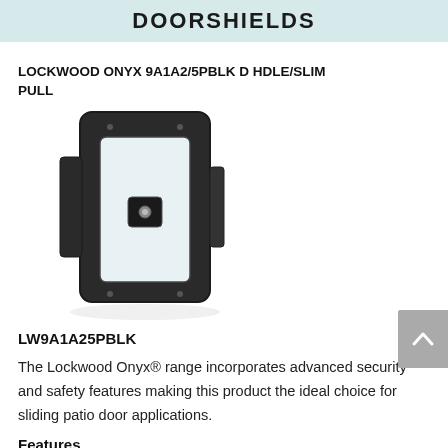DOORSHIELDS
LOCKWOOD ONYX 9A1A2/5PBLK D HDLE/SLIM PULL
[Figure (photo): Black sliding patio door handle with slim pull design — rectangular frame with central locking mechanism]
LW9A1A25PBLK
The Lockwood Onyx® range incorporates advanced security and safety features making this product the ideal choice for sliding patio door applications.
Features